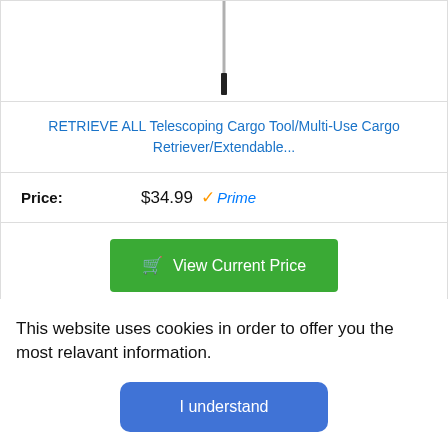[Figure (photo): Partial image of a telescoping cargo tool/retriever, showing the slim handle/tip on white background]
RETRIEVE ALL Telescoping Cargo Tool/Multi-Use Cargo Retriever/Extendable...
Price: $34.99 ✓Prime
View Current Price
3
This website uses cookies in order to offer you the most relavant information.
I understand